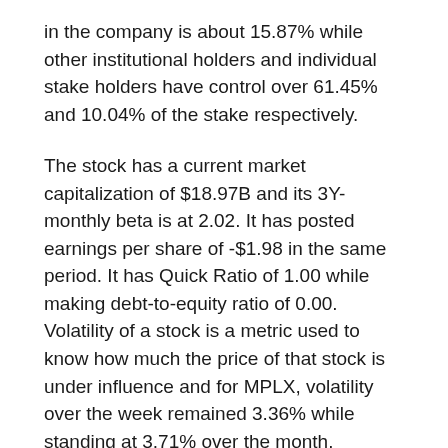in the company is about 15.87% while other institutional holders and individual stake holders have control over 61.45% and 10.04% of the stake respectively.
The stock has a current market capitalization of $18.97B and its 3Y-monthly beta is at 2.02. It has posted earnings per share of -$1.98 in the same period. It has Quick Ratio of 1.00 while making debt-to-equity ratio of 0.00. Volatility of a stock is a metric used to know how much the price of that stock is under influence and for MPLX, volatility over the week remained 3.36% while standing at 3.71% over the month.
Analysts are in expectations that MPLX LP (MPLX) stock would likely to be making an EPS of $0.55 in the current quarter, while forecast for next quarter ESPS is $0.59 and it is $2.32 for next year. For the current quarter EPS, analysts have given the company a lowest target $0.45 which is $0.61